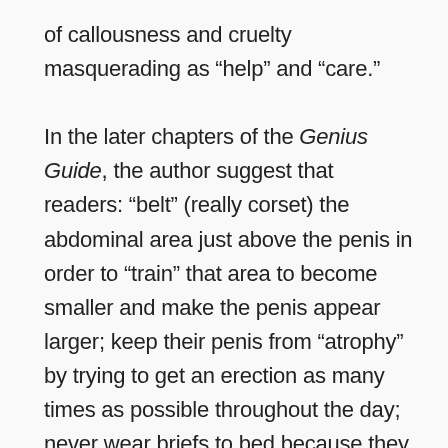of callousness and cruelty masquerading as “help” and “care.”

In the later chapters of the Genius Guide, the author suggest that readers: “belt” (really corset) the abdominal area just above the penis in order to “train” that area to become smaller and make the penis appear larger; keep their penis from “atrophy” by trying to get an erection as many times as possible throughout the day; never wear briefs to bed because they will stop your penis from growing overnight; wear shorts